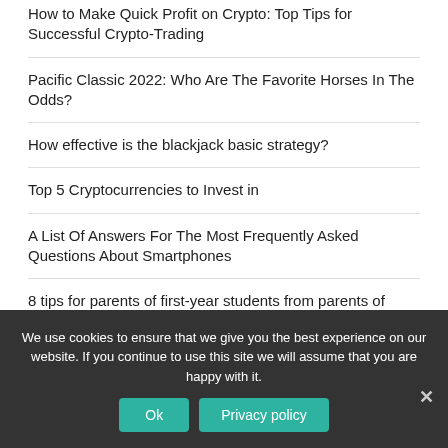How to Make Quick Profit on Crypto: Top Tips for Successful Crypto-Trading
Pacific Classic 2022: Who Are The Favorite Horses In The Odds?
How effective is the blackjack basic strategy?
Top 5 Cryptocurrencies to Invest in
A List Of Answers For The Most Frequently Asked Questions About Smartphones
8 tips for parents of first-year students from parents of graduates
Best Work from Home Apps for Maximum Productivity
We use cookies to ensure that we give you the best experience on our website. If you continue to use this site we will assume that you are happy with it.